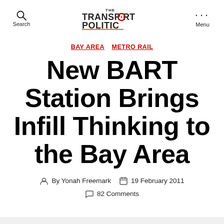Search | THE TRANSPORT POLITIC | Menu
BAY AREA  METRO RAIL
New BART Station Brings Infill Thinking to the Bay Area
By Yonah Freemark   19 February 2011   82 Comments